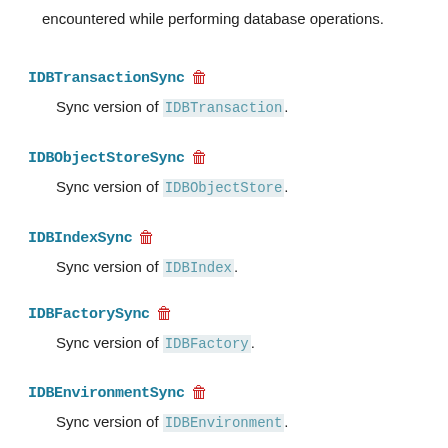encountered while performing database operations.
IDBTransactionSync 🗑
Sync version of IDBTransaction.
IDBObjectStoreSync 🗑
Sync version of IDBObjectStore.
IDBIndexSync 🗑
Sync version of IDBIndex.
IDBFactorySync 🗑
Sync version of IDBFactory.
IDBEnvironmentSync 🗑
Sync version of IDBEnvironment.